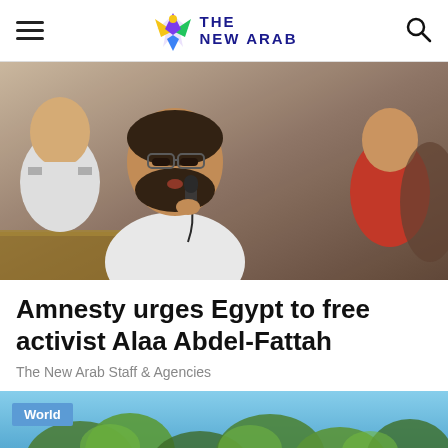THE NEW ARAB
[Figure (photo): Man with beard speaking into microphone in a courtroom setting, flanked by people in uniform and civilian clothing]
Amnesty urges Egypt to free activist Alaa Abdel-Fattah
The New Arab Staff & Agencies
[Figure (photo): Outdoor scene with trees against a blue sky, with a 'World' category tag overlay in the bottom left]